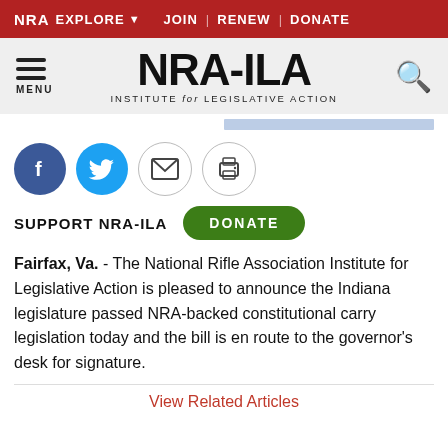NRA EXPLORE ▾  JOIN | RENEW | DONATE
[Figure (logo): NRA-ILA Institute for Legislative Action logo with hamburger menu and search icon]
[Figure (infographic): Social sharing icons: Facebook, Twitter, Email, Print]
SUPPORT NRA-ILA  DONATE
Fairfax, Va. - The National Rifle Association Institute for Legislative Action is pleased to announce the Indiana legislature passed NRA-backed constitutional carry legislation today and the bill is en route to the governor's desk for signature.
View Related Articles